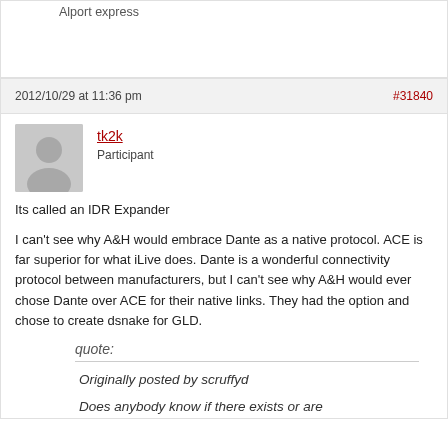Alport express
2012/10/29 at 11:36 pm  #31840
tk2k
Participant
Its called an IDR Expander
I can't see why A&H would embrace Dante as a native protocol. ACE is far superior for what iLive does. Dante is a wonderful connectivity protocol between manufacturers, but I can't see why A&H would ever chose Dante over ACE for their native links. They had the option and chose to create dsnake for GLD.
quote:
Originally posted by scruffyd
Does anybody know if there exists or are